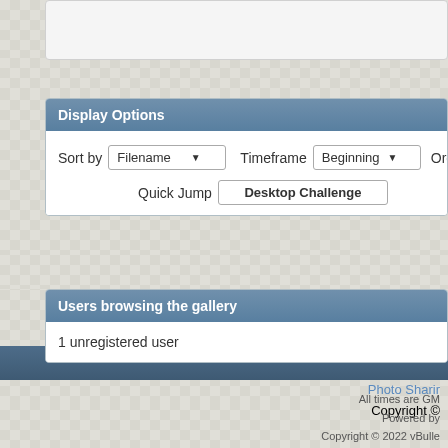Display Options
Sort by   Filename ▾   Timeframe   Beginning ▾   Order
Quick Jump   Desktop Challenge
Users browsing the gallery
1 unregistered user
Photo Sharing
Copyright ©
All times are GM
Powered by
Copyright © 2022 vBulle